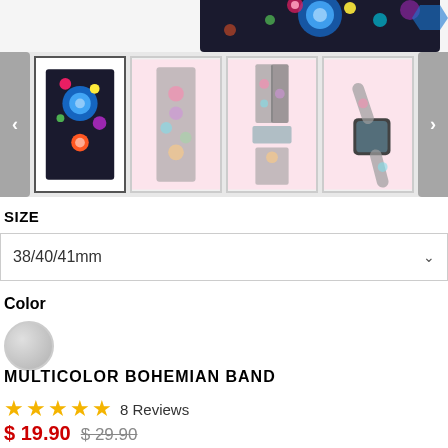[Figure (photo): Partial top view of a colorful bohemian patterned watch band with blue, pink, yellow, and green mandala/floral design]
[Figure (photo): Thumbnail gallery row showing 4 product images of bohemian patterned Apple Watch bands: first thumbnail selected showing dark blue mandala pattern band, second showing floral pattern band, third showing floral band worn on wrist, fourth showing band with watch attached]
SIZE
38/40/41mm
Color
[Figure (other): Gray/silver circular color swatch]
MULTICOLOR BOHEMIAN BAND
★★★★★  8 Reviews
$ 19.90  $ 29.90